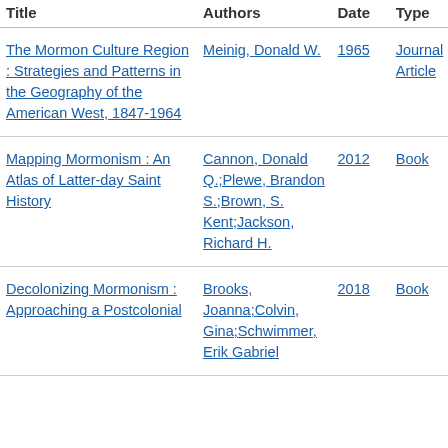| Title | Authors | Date | Type |
| --- | --- | --- | --- |
| The Mormon Culture Region : Strategies and Patterns in the Geography of the American West, 1847-1964 | Meinig, Donald W. | 1965 | Journal Article |
| Mapping Mormonism : An Atlas of Latter-day Saint History | Cannon, Donald Q.;Plewe, Brandon S.;Brown, S. Kent;Jackson, Richard H. | 2012 | Book |
| Decolonizing Mormonism : Approaching a Postcolonial | Brooks, Joanna;Colvin, Gina;Schwimmer, Erik Gabriel | 2018 | Book |